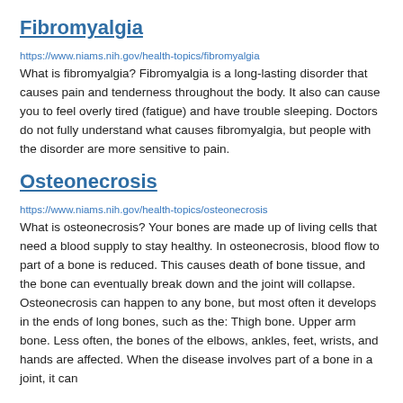Fibromyalgia
https://www.niams.nih.gov/health-topics/fibromyalgia
What is fibromyalgia? Fibromyalgia is a long-lasting disorder that causes pain and tenderness throughout the body. It also can cause you to feel overly tired (fatigue) and have trouble sleeping. Doctors do not fully understand what causes fibromyalgia, but people with the disorder are more sensitive to pain.
Osteonecrosis
https://www.niams.nih.gov/health-topics/osteonecrosis
What is osteonecrosis? Your bones are made up of living cells that need a blood supply to stay healthy. In osteonecrosis, blood flow to part of a bone is reduced. This causes death of bone tissue, and the bone can eventually break down and the joint will collapse. Osteonecrosis can happen to any bone, but most often it develops in the ends of long bones, such as the: Thigh bone. Upper arm bone. Less often, the bones of the elbows, ankles, feet, wrists, and hands are affected. When the disease involves part of a bone in a joint, it can
Gout